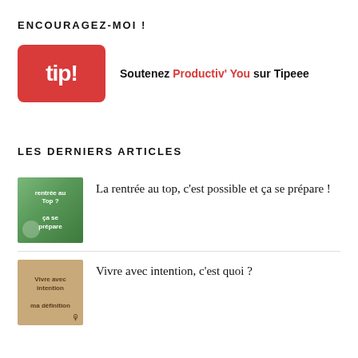ENCOURAGEZ-MOI !
[Figure (logo): Tipeee tip! logo in red rounded rectangle with white bold text]
Soutenez Productiv' You sur Tipeee
LES DERNIERS ARTICLES
[Figure (photo): Thumbnail image for article about rentrée au top, green background with text]
La rentrée au top, c'est possible et ça se prépare !
[Figure (photo): Thumbnail image for article about vivre avec intention, beige/brown background with text and person]
Vivre avec intention, c'est quoi ?